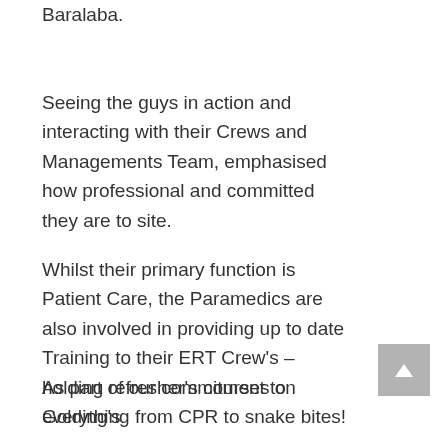Baralaba.
Seeing the guys in action and interacting with their Crews and Managements Team, emphasised how professional and committed they are to site.
Whilst their primary function is Patient Care, the Paramedics are also involved in providing up to date Training to their ERT Crew's – holding refresher's courses on everything from CPR to snake bites!
They are respected and regarded on site and work seamlessly together as a team.
As part of our commitment to Golding's